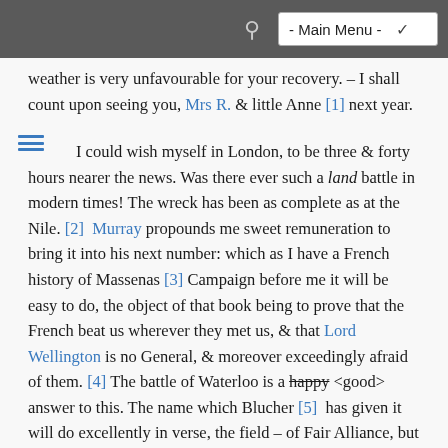- Main Menu -
weather is very unfavourable for your recovery. – I shall count upon seeing you, Mrs R. & little Anne [1] next year.
I could wish myself in London, to be three & forty hours nearer the news. Was there ever such a land battle in modern times! The wreck has been as complete as at the Nile. [2]  Murray propounds me sweet remuneration to bring it into his next number: which as I have a French history of Massenas [3] Campaign before me it will be easy to do, the object of that book being to prove that the French beat us wherever they met us, & that Lord Wellington is no General, & moreover exceedingly afraid of them. [4] The battle of Waterloo is a happy <good> answer to this. The name which Blucher [5]  has given it will do excellently in verse, the field – of Fair Alliance, but I do not like it in prose, – for we gave them such an